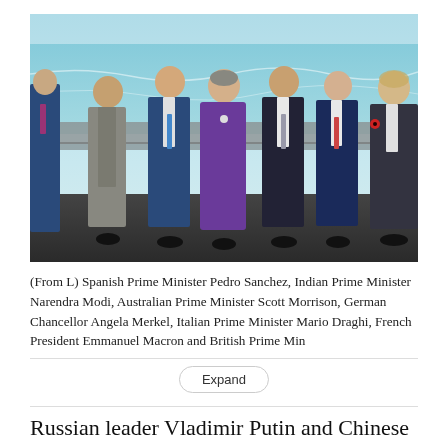[Figure (photo): Group photo of world leaders standing in a row outdoors near water. From left: Spanish Prime Minister Pedro Sanchez, Indian Prime Minister Narendra Modi, Australian Prime Minister Scott Morrison, German Chancellor Angela Merkel (in purple jacket, center), Italian Prime Minister Mario Draghi, French President Emmanuel Macron, and British Prime Minister Boris Johnson.]
(From L) Spanish Prime Minister Pedro Sanchez, Indian Prime Minister Narendra Modi, Australian Prime Minister Scott Morrison, German Chancellor Angela Merkel, Italian Prime Minister Mario Draghi, French President Emmanuel Macron and British Prime Min
Expand
Russian leader Vladimir Putin and Chinese President Xi